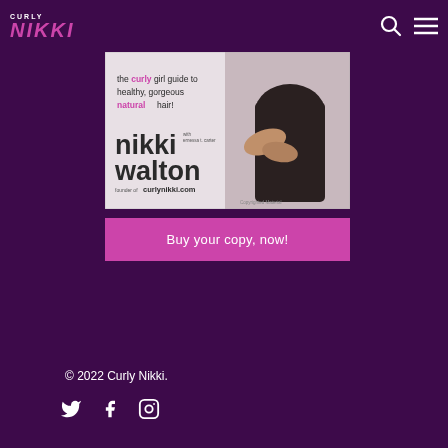Curly Nikki
[Figure (photo): Book cover for 'the curly girl guide to healthy, gorgeous natural hair!' by nikki walton with ernessa t. carter, founder of curlynikki.com. Shows a woman in a black outfit with text overlay.]
Buy your copy, now!
© 2022 Curly Nikki.